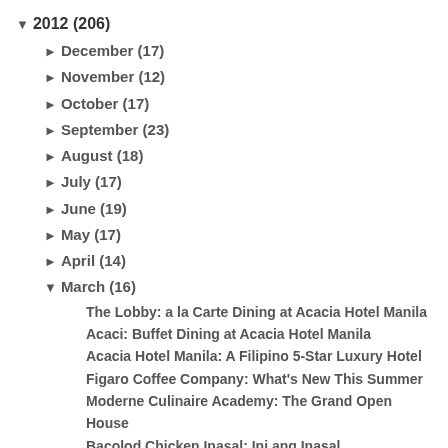▼ 2012 (206)
► December (17)
► November (12)
► October (17)
► September (23)
► August (18)
► July (17)
► June (19)
► May (17)
► April (14)
▼ March (16)
The Lobby: a la Carte Dining at Acacia Hotel Manila
Acaci: Buffet Dining at Acacia Hotel Manila
Acacia Hotel Manila: A Filipino 5-Star Luxury Hotel
Figaro Coffee Company: What's New This Summer
Moderne Culinaire Academy: The Grand Open House
Bacolod Chicken Inasal: Ini ang Inasal
Daily Quickie: Selecta Magnum Classic & Almond
Market Cafe: Buffet Dining at Hyatt Hotel